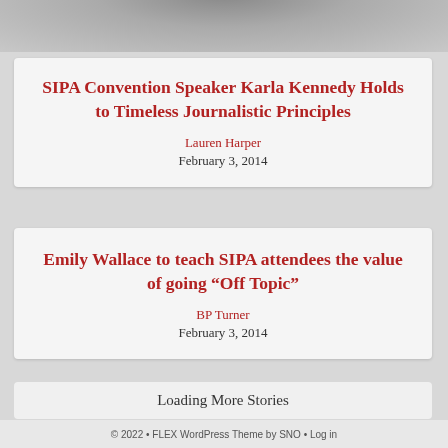[Figure (photo): Partial photo of a person, showing upper body/face area cropped at top of page]
SIPA Convention Speaker Karla Kennedy Holds to Timeless Journalistic Principles
Lauren Harper
February 3, 2014
Emily Wallace to teach SIPA attendees the value of going “Off Topic”
BP Turner
February 3, 2014
Loading More Stories
© 2022 • FLEX WordPress Theme by SNO • Log in